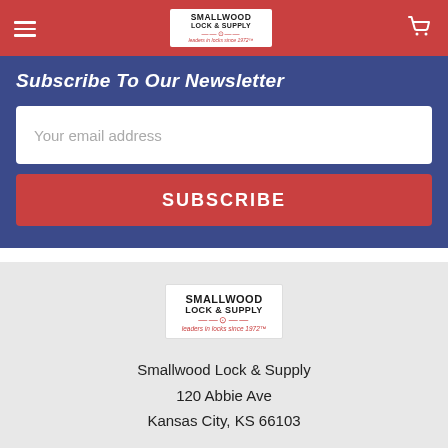Smallwood Lock & Supply — Navigation header with hamburger menu, logo, and cart icon
Subscribe To Our Newsletter
Your email address
SUBSCRIBE
[Figure (logo): Smallwood Lock & Supply logo with key graphic and tagline 'leaders in locks since 1972']
Smallwood Lock & Supply
120 Abbie Ave
Kansas City, KS 66103